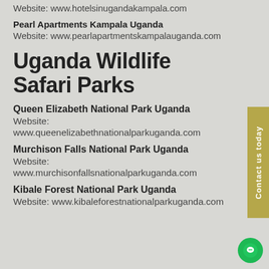Website: www.hotelsinugandakampala.com
Pearl Apartments Kampala Uganda
Website: www.pearlapartmentskampalauganda.com
Uganda Wildlife Safari Parks
Queen Elizabeth National Park Uganda
Website:
www.queenelizabethnationalparkuganda.com
Murchison Falls National Park Uganda
Website:
www.murchisonfallsnationalparkuganda.com
Kibale Forest National Park Uganda
Website: www.kibaleforestnationalparkuganda.com